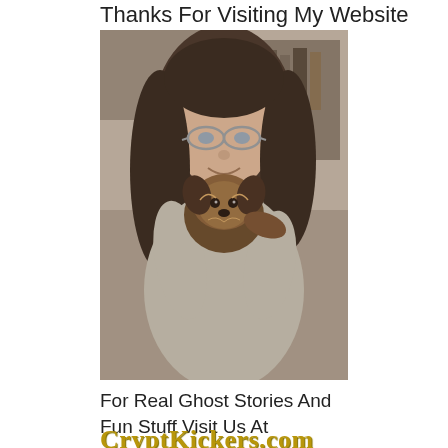Thanks For Visiting My Website
[Figure (photo): A woman with long brown hair wearing glasses, smiling and holding a small Yorkshire Terrier dog up to her face. The photo appears to be a casual indoor webcam-style photo.]
For Real Ghost Stories And Fun Stuff Visit Us At
CryptKickers.com